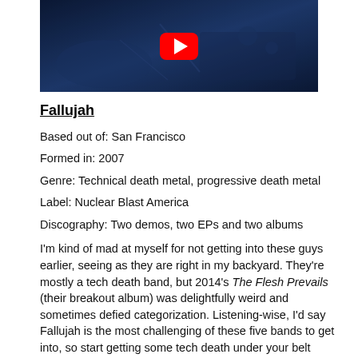[Figure (screenshot): YouTube video thumbnail showing a dark blue-lit scene, with a red YouTube play button overlay in the center.]
Fallujah
Based out of: San Francisco
Formed in: 2007
Genre: Technical death metal, progressive death metal
Label: Nuclear Blast America
Discography: Two demos, two EPs and two albums
I'm kind of mad at myself for not getting into these guys earlier, seeing as they are right in my backyard. They're mostly a tech death band, but 2014's The Flesh Prevails (their breakout album) was delightfully weird and sometimes defied categorization. Listening-wise, I'd say Fallujah is the most challenging of these five bands to get into, so start getting some tech death under your belt before firing up Flesh, The Harvest Wombs or